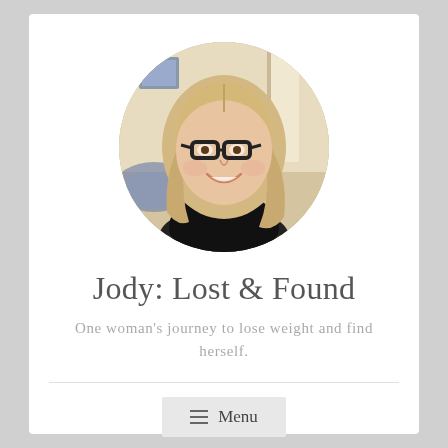[Figure (photo): Circular cropped portrait photo of a blonde woman wearing black glasses, smiling, with shoulder-length hair, in a room setting.]
Jody: Lost & Found
One woman's journey to lose weight and find herself.
Menu